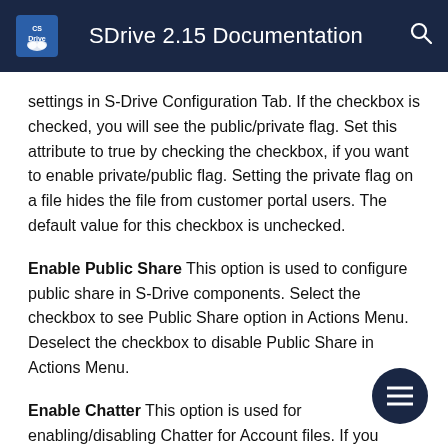SDrive 2.15 Documentation
settings in S-Drive Configuration Tab. If the checkbox is checked, you will see the public/private flag. Set this attribute to true by checking the checkbox, if you want to enable private/public flag. Setting the private flag on a file hides the file from customer portal users. The default value for this checkbox is unchecked.
Enable Public Share This option is used to configure public share in S-Drive components. Select the checkbox to see Public Share option in Actions Menu. Deselect the checkbox to disable Public Share in Actions Menu.
Enable Chatter This option is used for enabling/disabling Chatter for Account files. If you